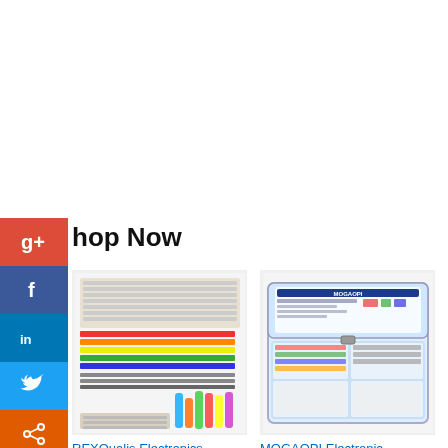Shop Now
[Figure (photo): REXQualis Electronics Component Fun Kit with breadboard, resistors, LEDs, wires]
REXQualis Electronics Component Fun Kit ...
$16.99  $22.99  prime  ★★★★★ (1763)
[Figure (photo): MOGAOPI Electronic Component Kit in plastic storage case]
MOGAOPI Electronic Component Kit & Tota…
$25.99  prime  ★★★★½ (172)